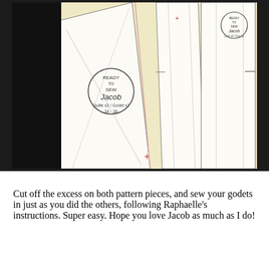[Figure (photo): Photograph of sewing pattern pieces laid out on a light yellow surface. The pattern pieces are printed/drawn on white paper with pencil lines. One piece has a circular stamp reading 'READY TO SEW Jacob Quille x2 / Godet x2 34-38'. Another pattern piece in the upper right also has a similar stamp. There are red cross/plus marks on some pieces. The left side of the image shows a dark background.]
Cut off the excess on both pattern pieces, and sew your godets in just as you did the others, following Raphaelle's instructions. Super easy. Hope you love Jacob as much as I do!